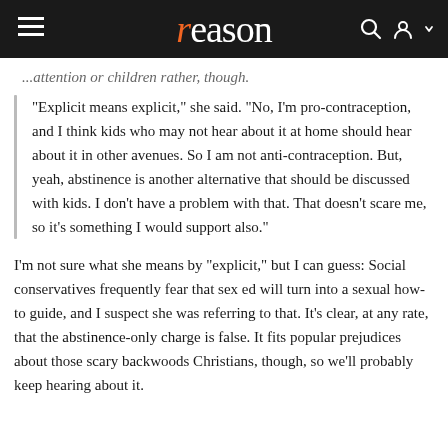reason
...attention or children rather, though.
"Explicit means explicit," she said. "No, I'm pro-contraception, and I think kids who may not hear about it at home should hear about it in other avenues. So I am not anti-contraception. But, yeah, abstinence is another alternative that should be discussed with kids. I don't have a problem with that. That doesn't scare me, so it's something I would support also."
I'm not sure what she means by "explicit," but I can guess: Social conservatives frequently fear that sex ed will turn into a sexual how-to guide, and I suspect she was referring to that. It's clear, at any rate, that the abstinence-only charge is false. It fits popular prejudices about those scary backwoods Christians, though, so we'll probably keep hearing about it.